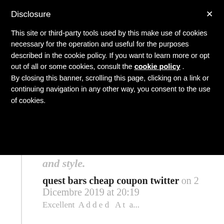Disclosure
This site or third-party tools used by this make use of cookies necessary for the operation and useful for the purposes described in the cookie policy. If you want to learn more or opt out of all or some cookies, consult the cookie policy . By closing this banner, scrolling this page, clicking on a link or continuing navigation in any other way, you consent to the use of cookies.
and style.
quest bars cheap coupon twitter on 2 Dicembre 2019 at 20:19
Excellent ideas! At...